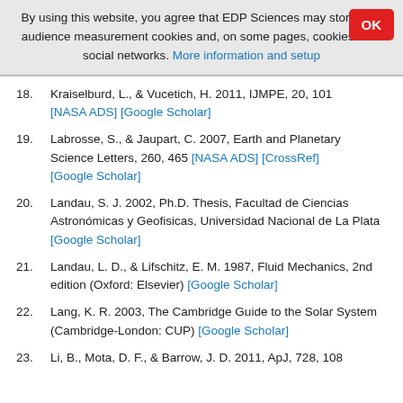By using this website, you agree that EDP Sciences may store web audience measurement cookies and, on some pages, cookies from social networks. More information and setup
18. Kraiselburd, L., & Vucetich, H. 2011, IJMPE, 20, 101 [NASA ADS] [Google Scholar]
19. Labrosse, S., & Jaupart, C. 2007, Earth and Planetary Science Letters, 260, 465 [NASA ADS] [CrossRef] [Google Scholar]
20. Landau, S. J. 2002, Ph.D. Thesis, Facultad de Ciencias Astronómicas y Geofisicas, Universidad Nacional de La Plata [Google Scholar]
21. Landau, L. D., & Lifschitz, E. M. 1987, Fluid Mechanics, 2nd edition (Oxford: Elsevier) [Google Scholar]
22. Lang, K. R. 2003, The Cambridge Guide to the Solar System (Cambridge-London: CUP) [Google Scholar]
23. Li, B., Mota, D. F., & Barrow, J. D. 2011, ApJ, 728, 108